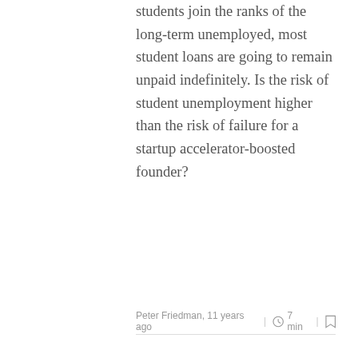students join the ranks of the long-term unemployed, most student loans are going to remain unpaid indefinitely. Is the risk of student unemployment higher than the risk of failure for a startup accelerator-boosted founder?
Peter Friedman, 11 years ago | 7 min |
Big Business: The startup WITHIN